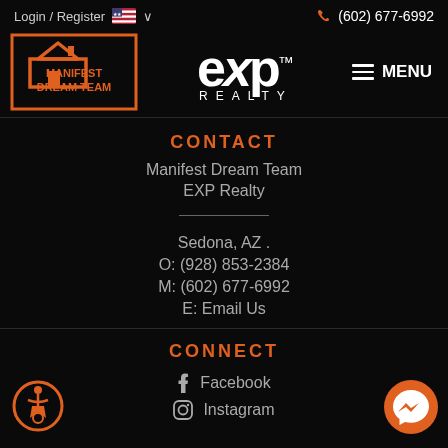Login / Register  🇺🇸 ∨    📞 (602) 677-6992
[Figure (logo): Manifest Dream Team logo - orange house icon with text MANIFEST DREAM TEAM]
[Figure (logo): eXp Realty logo - white text eXp with TM superscript and REALTY below]
≡ MENU
CONTACT
Manifest Dream Team
EXP Realty
Sedona, AZ .
O: (928) 853-2384
M: (602) 677-6992
E: Email Us
CONNECT
f  Facebook
Instagram